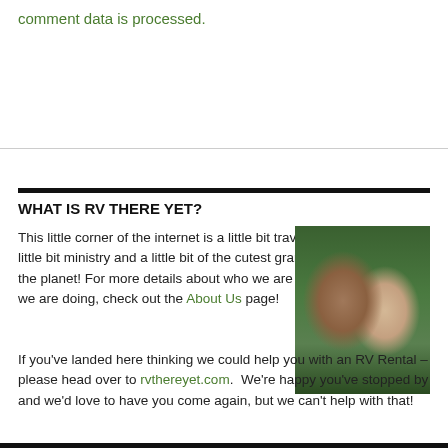comment data is processed.
WHAT IS RV THERE YET?
This little corner of the internet is a little bit travelogue, a little bit ministry and a little bit of the cutest grandkids on the planet! For more details about who we are and what we are doing, check out the About Us page!
[Figure (photo): Photo of a couple (man with beard and cap, woman with sunglasses and colorful scarf) outdoors with trees in background]
If you've landed here thinking we could help you with an RV Rental – please head over to rvthereyet.com.  We're happy you've stopped by and we'd love to have you come again, but we can't help with that!